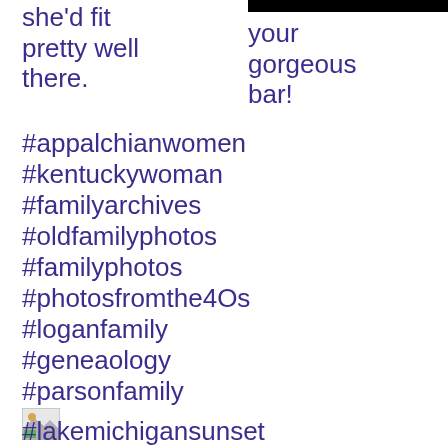she'd fit pretty well there.
your gorgeous bar!
#appalchianwomen
#kentuckywoman
#familyarchives
#oldfamilyphotos
#familyphotos
#photosfromthe4Os
#loganfamily
#geneaology
#parsonfamily
[Figure (photo): Small image thumbnail placeholder]
#lakemichigansunset
#puremichigan